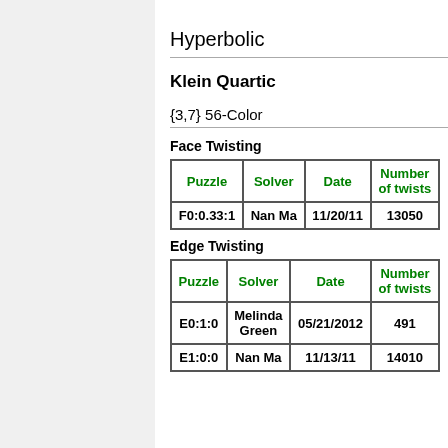Hyperbolic
Klein Quartic
{3,7} 56-Color
Face Twisting
| Puzzle | Solver | Date | Number of twists |
| --- | --- | --- | --- |
| F0:0.33:1 | Nan Ma | 11/20/11 | 13050 |
Edge Twisting
| Puzzle | Solver | Date | Number of twists |
| --- | --- | --- | --- |
| E0:1:0 | Melinda Green | 05/21/2012 | 491 |
| E1:0:0 | Nan Ma | 11/13/11 | 14010 |